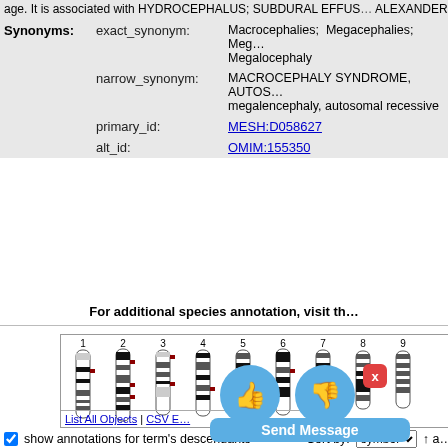age. It is associated with HYDROCEPHALUS; SUBDURAL EFFUSION; ALEXANDER DISEASE; SOTOS SYNDROME).
|  |  |  |
| --- | --- | --- |
| Synonyms: | exact_synonym: | Macrocephalies; Megacephalies; Meg... Megalocephaly |
|  | narrow_synonym: | MACROCEPHALY SYNDROME, AUTOS... megalencephaly, autosomal recessive |
|  | primary_id: | MESH:D058627 |
|  | alt_id: | OMIM:155350 |
For additional species annotation, visit th...
[Figure (other): Human karyotype/chromosome ideogram diagram showing chromosomes 1 through 9 with black banding patterns and dark red/maroon annotation marks. Below the ideogram is a toolbar with 'List All Objects | CSV Export | Add Objects | Clear' links.]
show annotations for term's descendants   Sort by: symbol
[Figure (other): UI overlay with thumbs-up and thumbs-down blue circular buttons, a red X close button, and a blue 'Send Message' banner.]